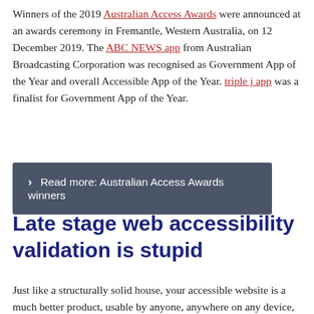Winners of the 2019 Australian Access Awards were announced at an awards ceremony in Fremantle, Western Australia, on 12 December 2019. The ABC NEWS app from Australian Broadcasting Corporation was recognised as Government App of the Year and overall Accessible App of the Year. triple j app was a finalist for Government App of the Year.
Read more: Australian Access Awards winners
Late stage web accessibility validation is stupid
Just like a structurally solid house, your accessible website is a much better product, usable by anyone, anywhere on any device, which brings you more influence, sales, and everything you want.